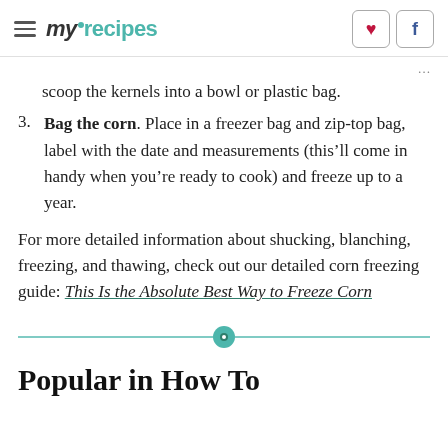myrecipes
scoop the kernels into a bowl or plastic bag.
Bag the corn. Place in a freezer bag and zip-top bag, label with the date and measurements (this’ll come in handy when you’re ready to cook) and freeze up to a year.
For more detailed information about shucking, blanching, freezing, and thawing, check out our detailed corn freezing guide: This Is the Absolute Best Way to Freeze Corn
Popular in How To